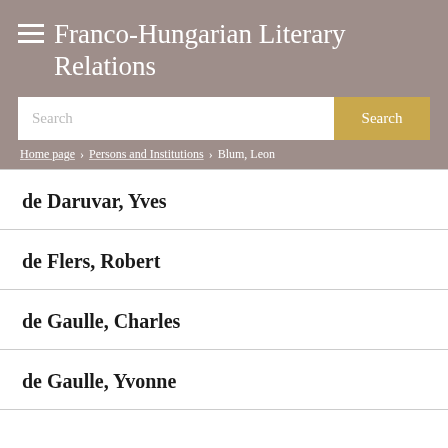Franco-Hungarian Literary Relations
Search
Home page › Persons and Institutions › Blum, Leon
de Daruvar, Yves
de Flers, Robert
de Gaulle, Charles
de Gaulle, Yvonne